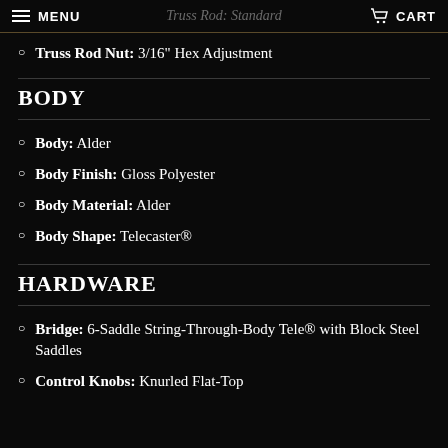MENU | Truss Rod: Standard | CART
Truss Rod Nut: 3/16" Hex Adjustment
BODY
Body: Alder
Body Finish: Gloss Polyester
Body Material: Alder
Body Shape: Telecaster®
HARDWARE
Bridge: 6-Saddle String-Through-Body Tele® with Block Steel Saddles
Control Knobs: Knurled Flat-Top